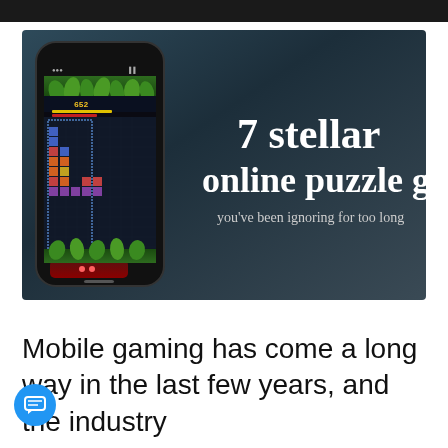[Figure (illustration): Mobile phone displaying a Tetris-style block puzzle game on a dark blue-gray background. Large white text reads '7 stellar online puzzle games you've been ignoring for too long']
Mobile gaming has come a long way in the last few years, and the industry